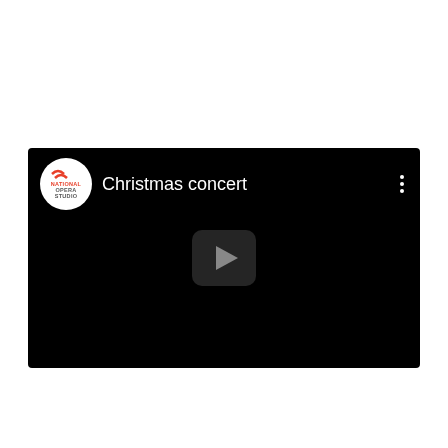[Figure (screenshot): A video player screenshot showing a black background with the National Opera Studio logo (circular white badge with red and grey text) on the top left, the title 'Christmas concert' in white text next to the logo, a three-dot menu icon on the top right, and a dark rounded play button icon in the center of the video frame.]